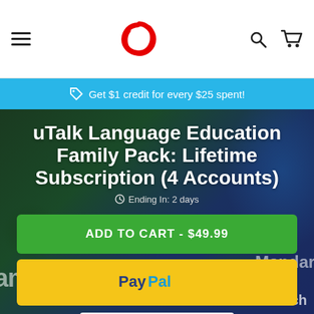Get $1 credit for every $25 spent!
uTalk Language Education Family Pack: Lifetime Subscription (4 Accounts)
Ending In: 2 days
ADD TO CART - $49.99
[Figure (logo): PayPal logo on yellow button]
1